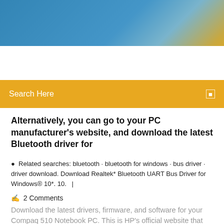[Figure (other): Blue gradient website header banner with orange/yellow accent in top-right corner]
Search Here
Alternatively, you can go to your PC manufacturer's website, and download the latest Bluetooth driver for
Related searches: bluetooth · bluetooth for windows · bus driver · driver download. Download Realtek* Bluetooth UART Bus Driver for Windows® 10*. 10.  |
2 Comments
Download the latest drivers, firmware, and software for your Compaq 510 Notebook PC. This is HP's official website that will